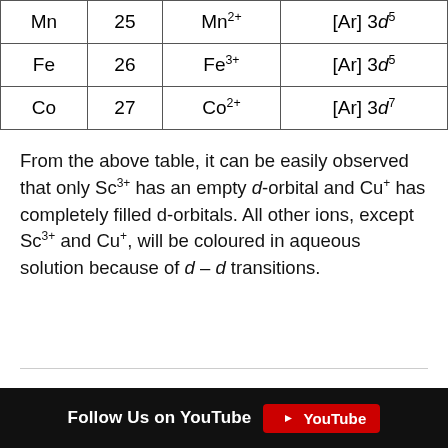| Element | Atomic Number | Ion | Electronic Configuration |
| --- | --- | --- | --- |
| Mn | 25 | Mn2+ | [Ar] 3d5 |
| Fe | 26 | Fe3+ | [Ar] 3d5 |
| Co | 27 | Co2+ | [Ar] 3d7 |
From the above table, it can be easily observed that only Sc3+ has an empty d-orbital and Cu+ has completely filled d-orbitals. All other ions, except Sc3+ and Cu+, will be coloured in aqueous solution because of d – d transitions.
Follow Us on YouTube